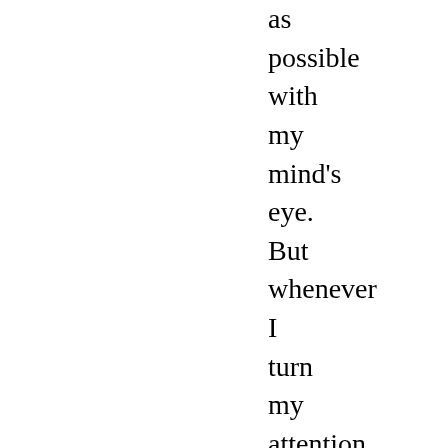as possible with my mind's eye. But whenever I turn my attention to those very things which I think I perceive with